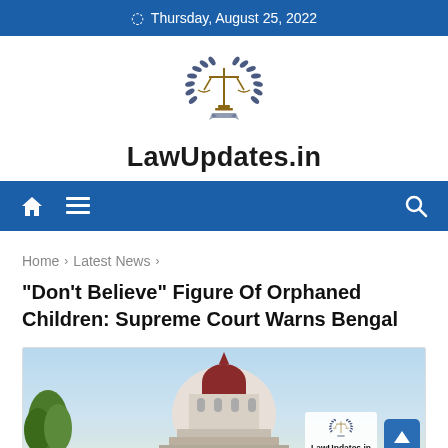Thursday, August 25, 2022
[Figure (logo): LawUpdates.in logo with scales of justice inside a laurel wreath]
LawUpdates.in
[Figure (screenshot): Navigation bar with home icon, hamburger menu icon, and search icon on blue background]
Home > Latest News >
"Don't Believe" Figure Of Orphaned Children: Supreme Court Warns Bengal
[Figure (photo): Supreme Court of India building dome photograph with LawUpdates.in watermark]